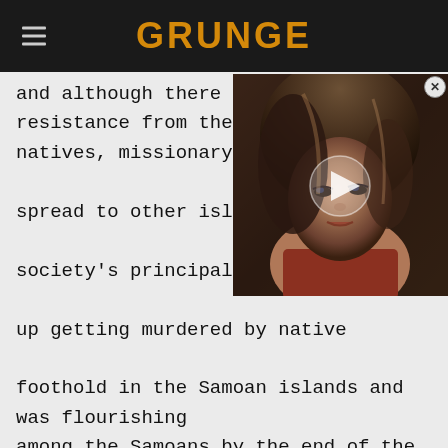GRUNGE
and although there was some resistance from the natives, missionary presence in spread to other islands in the society's principal proselytizer, up getting murdered by native foothold in the Samoan islands and was flourishing among the Samoans by the end of the decade.
[Figure (photo): Video thumbnail showing a woman with dark hair against a dark background, with a play button overlay. A close (X) button appears in the top right corner.]